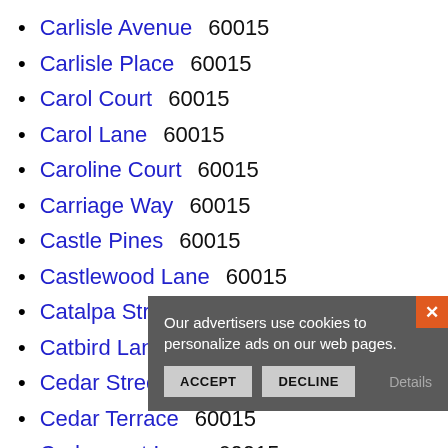Carlisle Avenue  60015
Carlisle Place  60015
Carol Court  60015
Carol Lane  60015
Caroline Court  60015
Carriage Way  60015
Castle Pines  60015
Castlewood Lane  60015
Catalpa Street  60015
Catbird Lane  60015
Cedar Street  60015
Cedar Terrace  60015
Cedarcrest Lane  60015